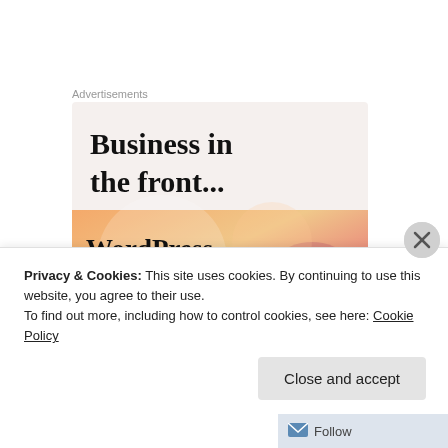Advertisements
[Figure (illustration): Advertisement banner with text 'Business in the front...' on light beige background and 'WordPress in the back.' on colorful orange-pink gradient background with circular shapes]
Privacy & Cookies: This site uses cookies. By continuing to use this website, you agree to their use.
To find out more, including how to control cookies, see here: Cookie Policy
Close and accept
Follow